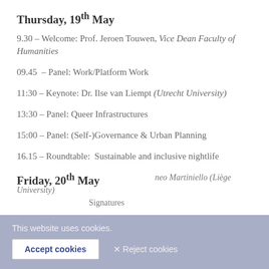Thursday, 19th May
9.30 – Welcome: Prof. Jeroen Touwen, Vice Dean Faculty of Humanities
09.45 – Panel: Work/Platform Work
11:30 – Keynote: Dr. Ilse van Liempt (Utrecht University)
13:30 – Panel: Queer Infrastructures
15:00 – Panel: (Self-)Governance & Urban Planning
16.15 – Roundtable: Sustainable and inclusive nightlife
Friday, 20th May
This website uses cookies. [partially obscured text: ...neo Martiniello (Liège University)... Signatures]